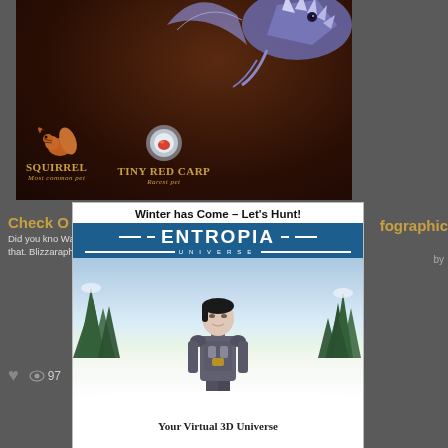[Figure (screenshot): Game screenshot showing a dark brown background with a dragon/creature at the top right, and two pets labeled 'Squirrel - Most common pet' and 'Tiny Red Carp - Rarest pet']
Check O...fographic
Did you kno...Warcraft outnumbers...know that. Blizza...raphic sharing and statistic...
97
[Figure (infographic): Entropia Universe promotional image with title 'Winter has Come – Let's Hunt!' showing the Entropia Universe logo and a female character in winter armor against a snowy forest background. Bottom text reads 'Your Virtual 3D Universe']